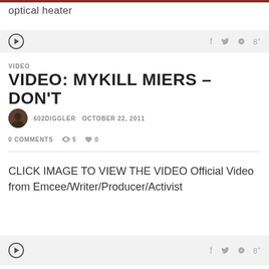optical heater
VIDEO
VIDEO: MYKILL MIERS – DON'T
602DIGGLER  OCTOBER 22, 2011
0 COMMENTS  5  0
CLICK IMAGE TO VIEW THE VIDEO Official Video from Emcee/Writer/Producer/Activist